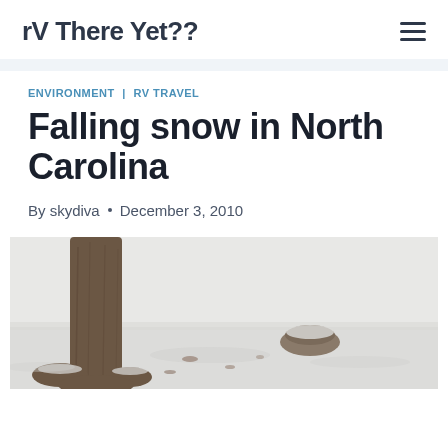rV There Yet??
ENVIRONMENT | RV TRAVEL
Falling snow in North Carolina
By skydiva • December 3, 2010
[Figure (photo): A snowy winter scene showing the base of a large tree trunk surrounded by snow-covered ground, with a small mound visible in the background.]